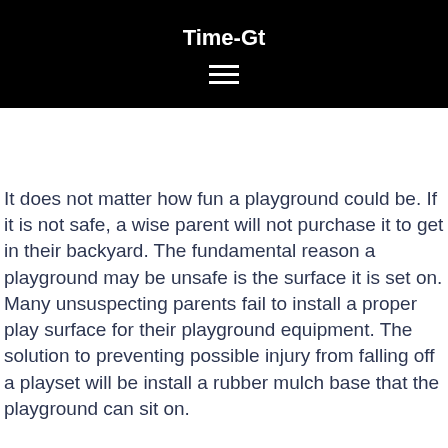Time-Gt
It does not matter how fun a playground could be. If it is not safe, a wise parent will not purchase it to get in their backyard. The fundamental reason a playground may be unsafe is the surface it is set on. Many unsuspecting parents fail to install a proper play surface for their playground equipment. The solution to preventing possible injury from falling off a playset will be install a rubber mulch base that the playground can sit on.